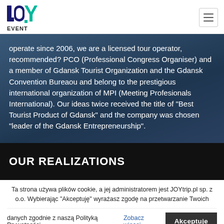JOY EVENT
operate since 2006, we are a licensed tour operator, recommended? PCO (Professional Congress Organiser) and a member of Gdansk Tourist Organization and the Gdansk Convention Bureaou and belong to the prestigious international organization of MPI (Meeting Profesionals International). Our ideas twice received the title of “Best Tourist Product of Gdansk” and the company was chosen “leader of the Gdansk Entrepreneurship”.
OUR REALIZATIONS
Ta strona używa plików cookie, a jej administratorem jest JOYtrip.pl sp. z o.o. Wybierając "Akceptuję" wyrażasz zgodę na przetwarzanie Twoich danych zgodnie z naszą Polityką Prywatności Zobacz więcej Akceptuje